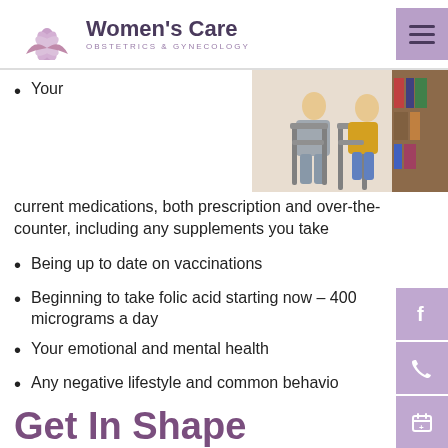Women's Care — OBSTETRICS & GYNECOLOGY
[Figure (photo): Two people sitting in chairs, one wearing a grey outfit and one in a yellow top, in a waiting room or office setting]
Your current medications, both prescription and over-the-counter, including any supplements you take
Being up to date on vaccinations
Beginning to take folic acid starting now – 400 micrograms a day
Your emotional and mental health
Any negative lifestyle and common behaviors
Get In Shape
In fact, attempt to get into the best shape possib…